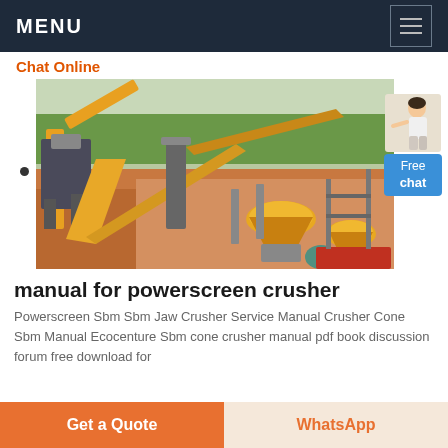MENU
Chat Online
[Figure (photo): Industrial mining crusher plant with yellow conveyor belts and cone crushers on a construction site with trees in background]
manual for powerscreen crusher
Powerscreen Sbm Sbm Jaw Crusher Service Manual Crusher Cone Sbm Manual Ecocenture Sbm cone crusher manual pdf book discussion forum free download for
Get a Quote   WhatsApp